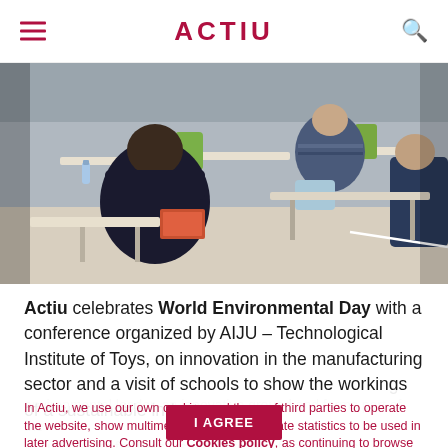ACTIU
[Figure (photo): Classroom or conference room scene with people seated at modern desks with green chairs, viewed from behind, bright open-plan space]
Actiu celebrates World Environmental Day with a conference organized by AIJU – Technological Institute of Toys, on innovation in the manufacturing sector and a visit of schools to show the workings of a sustainable industry.
In Actiu, we use our own cookies and those of third parties to operate the website, show multimedia content and create statistics to be used in later advertising. Consult our Cookies policy, as continuing to browse implies your consent to the use of cookies.
environmental leader, an innovative ground and forms part of the Actiu DNA. Its facilities, its products, all of its business philosophy revolves around economic efficiency and sustainability. Every 5th June celebrates Environmental